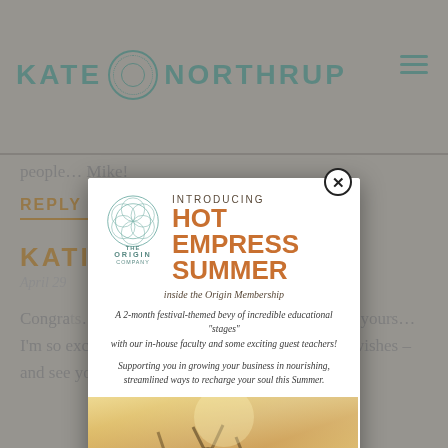KATE NORTHRUP
people… Mike!
REPLY
KATIE
April 29
Congrats… read your blo… uch a big dream for yours… I'm so excited for you that it's coming true! Best wishes – and see you around town :)
[Figure (screenshot): Popup modal advertisement for 'Hot Empress Summer inside the Origin Membership' by The Origin Company. Shows festival crowd background with a JOIN NOW button.]